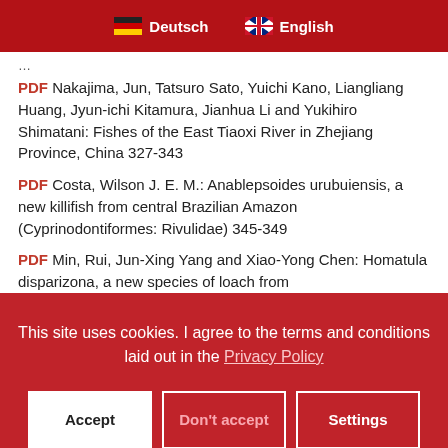Deutsch  English
PDF Nakajima, Jun, Tatsuro Sato, Yuichi Kano, Liangliang Huang, Jyun-ichi Kitamura, Jianhua Li and Yukihiro Shimatani: Fishes of the East Tiaoxi River in Zhejiang Province, China 327-343
PDF Costa, Wilson J. E. M.: Anablepsoides urubuiensis, a new killifish from central Brazilian Amazon (Cyprinodontiformes: Rivulidae) 345-349
PDF Min, Rui, Jun-Xing Yang and Xiao-Yong Chen: Homatula disparizona, a new species of loach from
This site uses cookies. I agree to the terms and conditions laid out in the Privacy Policy
Accept  Don't accept  Settings
record (Cyprinodontiformes: Rivulidae) 351-358